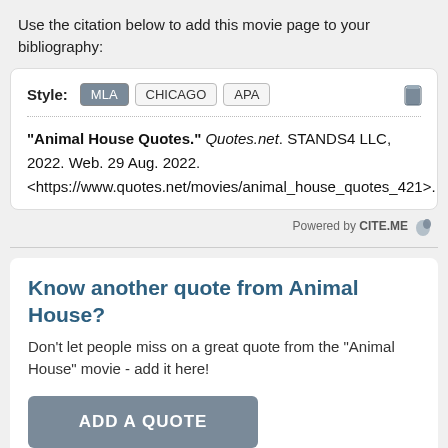Use the citation below to add this movie page to your bibliography:
Style: MLA CHICAGO APA
"Animal House Quotes." Quotes.net. STANDS4 LLC, 2022. Web. 29 Aug. 2022. <https://www.quotes.net/movies/animal_house_quotes_421>.
Powered by CITE.ME
Know another quote from Animal House?
Don't let people miss on a great quote from the "Animal House" movie - add it here!
ADD A QUOTE